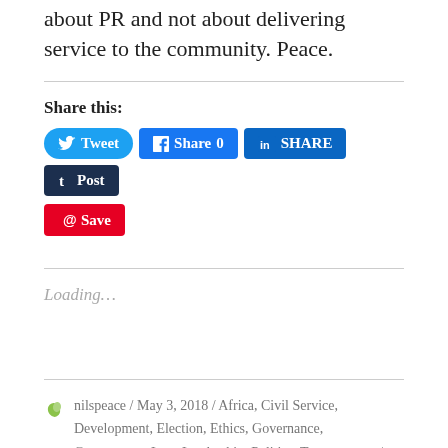about PR and not about delivering service to the community. Peace.
Share this:
Tweet  Share 0  SHARE  Post  Save
Loading...
nilspeace / May 3, 2018 / Africa, Civil Service, Development, Election, Ethics, Governance, Government, Law, Leadership, Politics, Transparency / 2010 Constitution Kenya, 2017 General Election, 2017 General Election Kenya, Accountability, Africa, AC...